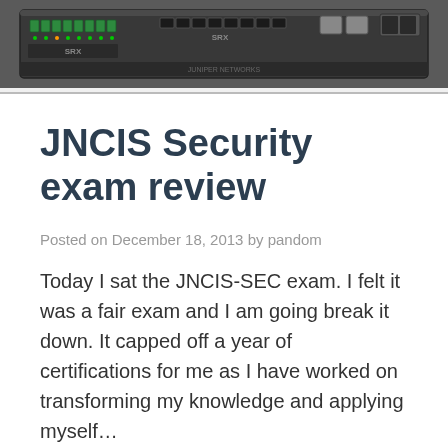[Figure (photo): Photo of network hardware/security appliance (Juniper SRX series router or similar rack-mounted networking equipment) viewed from the front panel showing ports and connectors]
JNCIS Security exam review
Posted on December 18, 2013 by pandom
Today I sat the JNCIS-SEC exam. I felt it was a fair exam and I am going break it down. It capped off a year of certifications for me as I have worked on transforming my knowledge and applying myself…